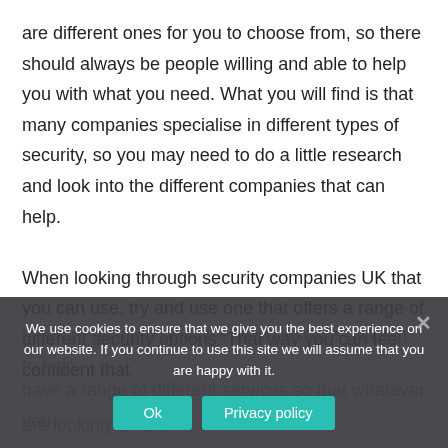are different ones for you to choose from, so there should always be people willing and able to help you with what you need. What you will find is that many companies specialise in different types of security, so you may need to do a little research and look into the different companies that can help.
When looking through security companies UK that you can use, try and use one that offers a range of different security options. That way you can feel confident that
they are going to be in the best possible position to help
have a range of different services so that whatever you
are looking for the
We use cookies to ensure that we give you the best experience on our website. If you continue to use this site we will assume that you are happy with it.